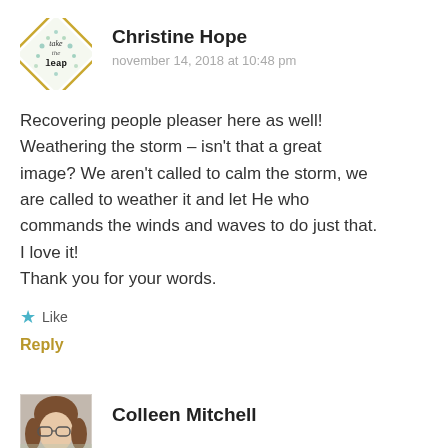[Figure (logo): Take the Leap logo: diamond shape with floral/leaf pattern and script text 'take the leap']
Christine Hope
november 14, 2018 at 10:48 pm
Recovering people pleaser here as well! Weathering the storm – isn't that a great image? We aren't called to calm the storm, we are called to weather it and let He who commands the winds and waves to do just that. I love it!
Thank you for your words.
★ Like
Reply
[Figure (photo): Profile photo of Colleen Mitchell, a woman with glasses and brown hair]
Colleen Mitchell